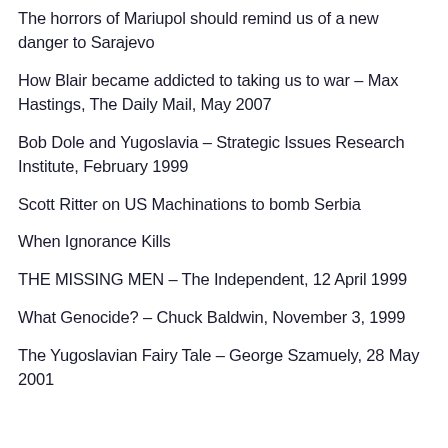The horrors of Mariupol should remind us of a new danger to Sarajevo
How Blair became addicted to taking us to war – Max Hastings, The Daily Mail, May 2007
Bob Dole and Yugoslavia – Strategic Issues Research Institute, February 1999
Scott Ritter on US Machinations to bomb Serbia
When Ignorance Kills
THE MISSING MEN – The Independent, 12 April 1999
What Genocide? – Chuck Baldwin, November 3, 1999
The Yugoslavian Fairy Tale – George Szamuely, 28 May 2001